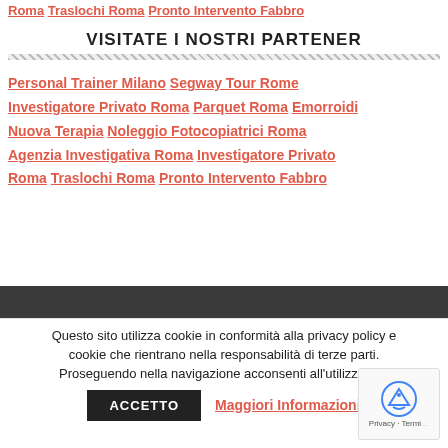Roma Traslochi Roma Pronto Intervento Fabbro
VISITATE I NOSTRI PARTENER
Personal Trainer Milano Segway Tour Rome Investigatore Privato Roma Parquet Roma Emorroidi Nuova Terapia Noleggio Fotocopiatrici Roma Agenzia Investigativa Roma Investigatore Privato Roma Traslochi Roma Pronto Intervento Fabbro
Questo sito utilizza cookie in conformità alla privacy policy e cookie che rientrano nella responsabilità di terze parti. Proseguendo nella navigazione acconsenti all'utilizzo d... ACCETTO Maggiori Informazioni